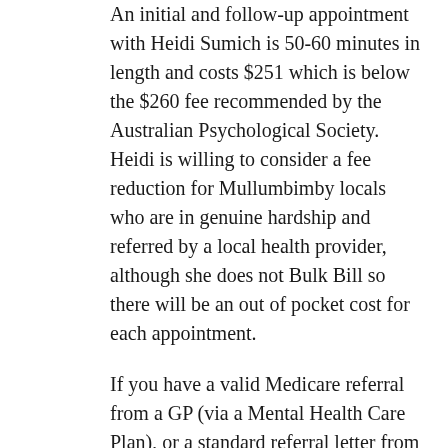An initial and follow-up appointment with Heidi Sumich is 50-60 minutes in length and costs $251 which is below the $260 fee recommended by the Australian Psychological Society. Heidi is willing to consider a fee reduction for Mullumbimby locals who are in genuine hardship and referred by a local health provider, although she does not Bulk Bill so there will be an out of pocket cost for each appointment.
If you have a valid Medicare referral from a GP (via a Mental Health Care Plan), or a standard referral letter from a psychiatrist or paediatrician, the Medicare rebate is $128.40 for up to 20 sessions per year. Your out of pocket cost for each appointment is $124.50. In the absence of a valid referral, there is no